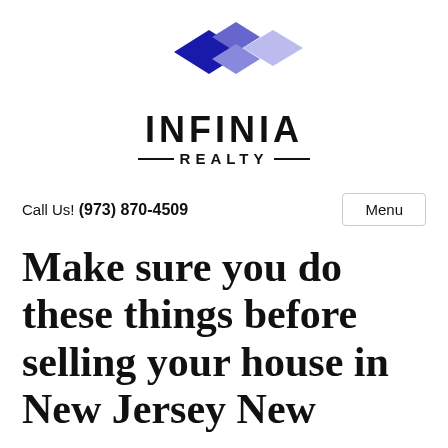[Figure (logo): Infinia Realty logo with diamond shapes in blue and lavender above the text INFINIA REALTY]
Call Us! (973) 870-4509
Menu
Make sure you do these things before selling your house in New Jersey New